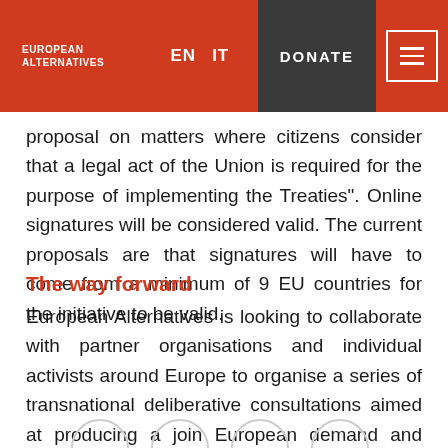EUROPEAN ALTERNATIVES | EN IT | DONATE
proposal on matters where citizens consider that a legal act of the Union is required for the purpose of implementing the Treaties". Online signatures will be considered valid. The current proposals are that signatures will have to come from a minimum of 9 EU countries for the initiative to be valid.
The way forward
European Alternatives is looking to collaborate with partner organisations and individual activists around Europe to organise a series of transnational deliberative consultations aimed at producing a join European demand and setting up the necessary coalition to carry through that demand.